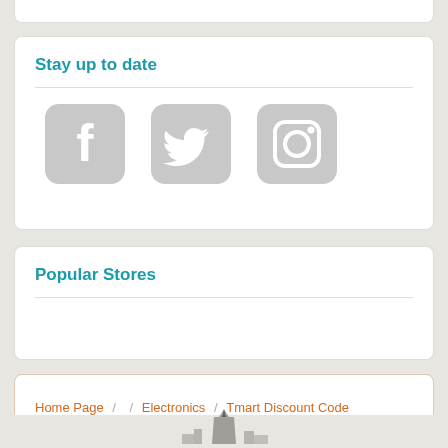Stay up to date
[Figure (illustration): Three social media icons: Facebook, Twitter, Instagram, rendered in light gray rounded square style]
Popular Stores
Home Page / / Electronics / Tmart Discount Code
[Figure (illustration): Partial view of a building/monument silhouette at the bottom of the page]